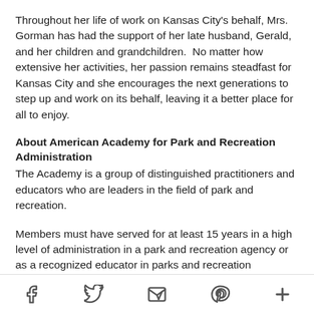Throughout her life of work on Kansas City's behalf, Mrs. Gorman has had the support of her late husband, Gerald, and her children and grandchildren.  No matter how extensive her activities, her passion remains steadfast for Kansas City and she encourages the next generations to step up and work on its behalf, leaving it a better place for all to enjoy.
About American Academy for Park and Recreation Administration
The Academy is a group of distinguished practitioners and educators who are leaders in the field of park and recreation.
Members must have served for at least 15 years in a high level of administration in a park and recreation agency or as a recognized educator in parks and recreation administration; or they must manage a park and recreation department for an agency with a population of more than 500,000.
[social share icons: Facebook, Twitter, Email, Pinterest, More]